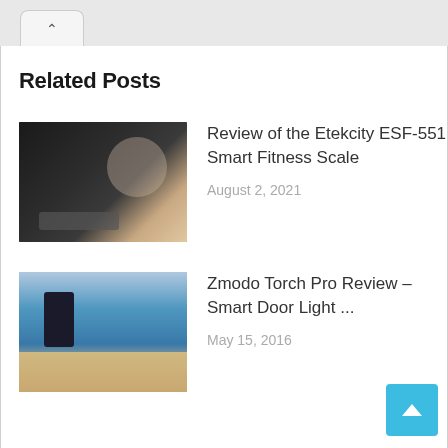Related Posts
[Figure (photo): Thumbnail image of a smart fitness scale with feet standing on it]
Review of the Etekcity ESF-551 Smart Fitness Scale
August 2, 2021
[Figure (photo): Thumbnail image of Zmodo Torch Pro smart door light with people]
Zmodo Torch Pro Review – Smart Door Light ...
May 15, 2016